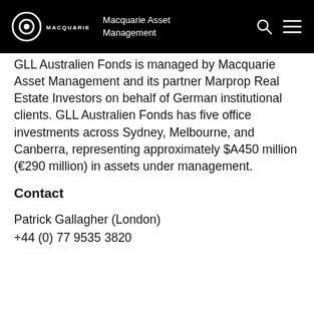Macquarie Asset Management
GLL Australien Fonds is managed by Macquarie Asset Management and its partner Marprop Real Estate Investors on behalf of German institutional clients. GLL Australien Fonds has five office investments across Sydney, Melbourne, and Canberra, representing approximately $A450 million (€290 million) in assets under management.
Contact
Patrick Gallagher (London)
+44 (0) 77 9535 3820